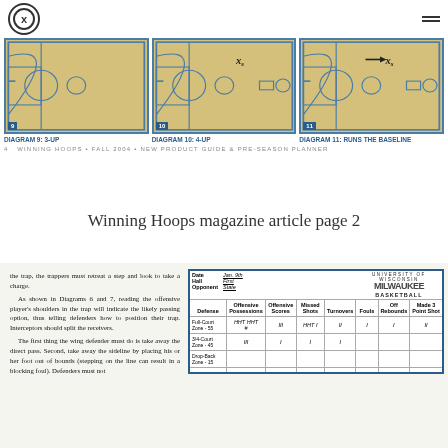[Figure (screenshot): Website navigation bar with Cx logo and hamburger menu]
[Figure (illustration): Three basketball court diagrams labeled: Diagram 9: 3-Up, Diagram 10: 4-Up, Diagram 11: Runs The Baseline]
DIAGRAM 9: 3-Up
DIAGRAM 10: 4-Up
DIAGRAM 11: Runs The Baseline
4 WINNING HOOPS • FALL 2004 • NEW PRODUCT GUIDE & PRE-SEASON PLANNER
Winning Hoops magazine article page 2
the trap, the trappers must retreat a step and look to take a charge. As shown in Diagrams 6 and 7, reading the offensive player's shoulders in the trap will indicate the likely passing option, thus telling defenders how to position their trap. Interceptors should split the receivers. The first thing the wing defender must do is take away the direct pass. Second, take away the sideline by placing his or her foot out of bounds (stepping on the line can result in a blocking foul). Defenders must not
| Defense | Offensive Possessions | Offensive Scores | Missed Shots | Turnovers | Fouls | Off Rebounds | Made 3 Point Shot |
| --- | --- | --- | --- | --- | --- | --- | --- |
| Full-Court Zone - 55 | HHT HHT # | III | HHT I | II | I | I | II |
| 3/4-Court Zone - 45 | III | I | I | I |  |  |  |
| Drop-Back Zone - 15 |  |  |  |  |  |  |  |
|  |  |  |  |  |  |  |  |